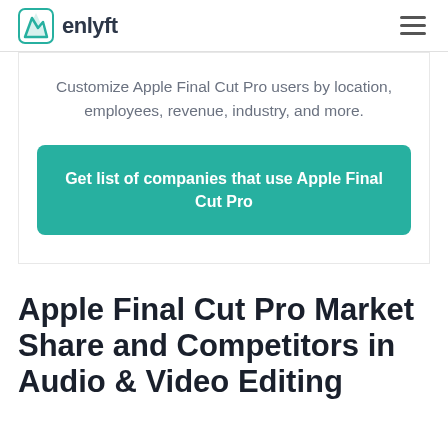enlyft
Customize Apple Final Cut Pro users by location, employees, revenue, industry, and more.
Get list of companies that use Apple Final Cut Pro
Apple Final Cut Pro Market Share and Competitors in Audio & Video Editing